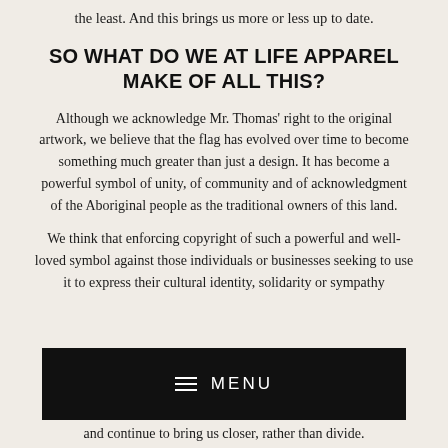the least. And this brings us more or less up to date.
SO WHAT DO WE AT LIFE APPAREL MAKE OF ALL THIS?
Although we acknowledge Mr. Thomas' right to the original artwork, we believe that the flag has evolved over time to become something much greater than just a design. It has become a powerful symbol of unity, of community and of acknowledgment of the Aboriginal people as the traditional owners of this land.
We think that enforcing copyright of such a powerful and well-loved symbol against those individuals or businesses seeking to use it to express their cultural identity, solidarity or sympathy
[Figure (other): Black navigation menu bar with hamburger icon and MENU text in white]
and continue to bring us closer, rather than divide.